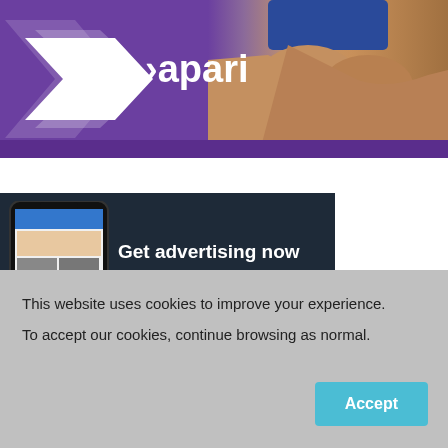[Figure (illustration): Apari brand banner with purple background, white double-chevron logo, 'apari' text in white, and a man with crossed arms on the right side]
[Figure (illustration): Dark navy advertisement banner showing a smartphone with a news website and text 'Get advertising now and promote to over']
This website uses cookies to improve your experience.
To accept our cookies, continue browsing as normal.
Accept